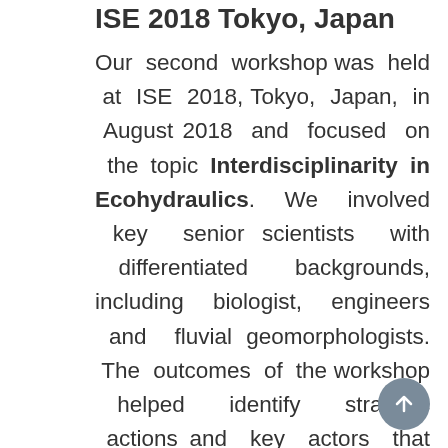ISE 2018 Tokyo, Japan
Our second workshop was held at ISE 2018, Tokyo, Japan, in August 2018 and focused on the topic Interdisciplinarity in Ecohydraulics. We involved key senior scientists with differentiated backgrounds, including biologist, engineers and fluvial geomorphologists. The outcomes of the workshop helped identify strategic actions and key actors that will support the interdisciplinary development of Ecohydraulics as a field of research.